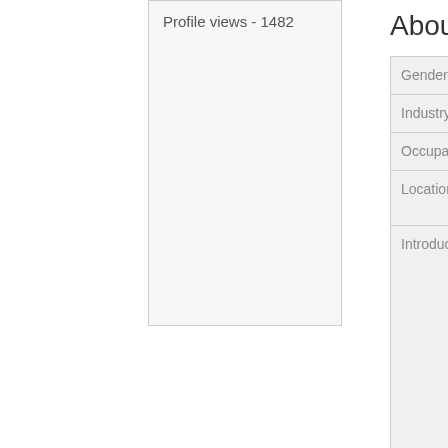Profile views - 1482
About me
| Field | Value |
| --- | --- |
| Gender | MALE |
| Industry | Communications or M... |
| Occupation | Journalist/Brodcaste... |
| Location | Liverpool, The World...
United Kingdom |
| Introduction | Professional Broadca... journalist. I have wor... music business all m... life which will be 40 y... 2015. I have been lu... with some of the gre... musicians in the wor... interviewing capacity... film and broadcasts. Classic Rock Radio D... felt that Classic Rock... deserved more than... tracks most Classic... |